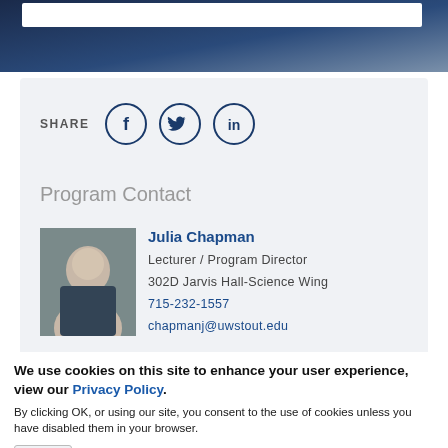[Figure (photo): Dark blue banner at top of page with white search box overlay]
SHARE
[Figure (illustration): Social share icons: Facebook, Twitter, LinkedIn in circular outlines]
Program Contact
[Figure (photo): Headshot photo of Julia Chapman]
Julia Chapman
Lecturer / Program Director
302D Jarvis Hall-Science Wing
715-232-1557
chapmanj@uwstout.edu
We use cookies on this site to enhance your user experience, view our Privacy Policy.
By clicking OK, or using our site, you consent to the use of cookies unless you have disabled them in your browser.
OK